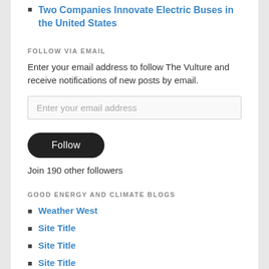Two Companies Innovate Electric Buses in the United States
FOLLOW VIA EMAIL
Enter your email address to follow The Vulture and receive notifications of new posts by email.
Enter your email address
Follow
Join 190 other followers
GOOD ENERGY AND CLIMATE BLOGS
Weather West
Site Title
Site Title
Site Title
Site Title
Emil Morhardt Fine Art